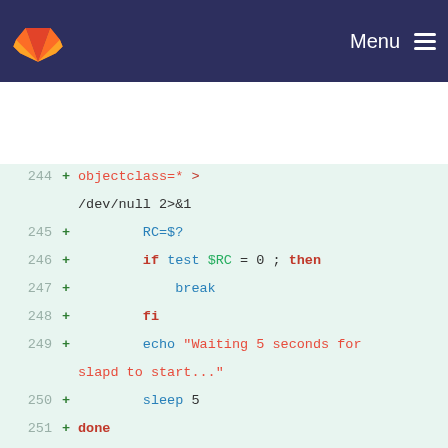GitLab — Menu
[Figure (screenshot): GitLab source code diff view showing shell script lines 244-259 with additions marked in green on a light green background. Code includes LDAP/slapd startup and error-checking logic.]